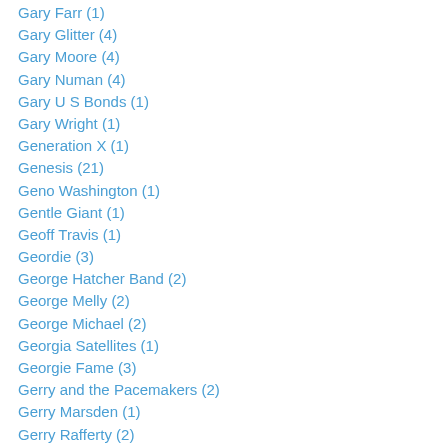Gary Farr (1)
Gary Glitter (4)
Gary Moore (4)
Gary Numan (4)
Gary U S Bonds (1)
Gary Wright (1)
Generation X (1)
Genesis (21)
Geno Washington (1)
Gentle Giant (1)
Geoff Travis (1)
Geordie (3)
George Hatcher Band (2)
George Melly (2)
George Michael (2)
Georgia Satellites (1)
Georgie Fame (3)
Gerry and the Pacemakers (2)
Gerry Marsden (1)
Gerry Rafferty (2)